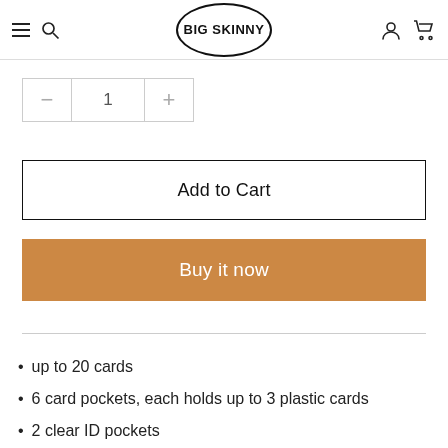Big Skinny — navigation header with hamburger, search, logo, account, cart icons
1
Add to Cart
Buy it now
up to 20 cards
6 card pockets, each holds up to 3 plastic cards
2 clear ID pockets